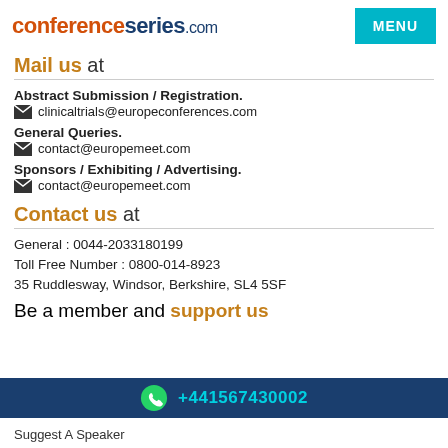conferenceseries.com MENU
Mail us at
Abstract Submission / Registration.
✉ clinicaltrials@europeconferences.com
General Queries.
✉ contact@europemeet.com
Sponsors / Exhibiting / Advertising.
✉ contact@europemeet.com
Contact us at
General : 0044-2033180199
Toll Free Number : 0800-014-8923
35 Ruddlesway, Windsor, Berkshire, SL4 5SF
Be a member and support us
+441567430002
Suggest A Speaker